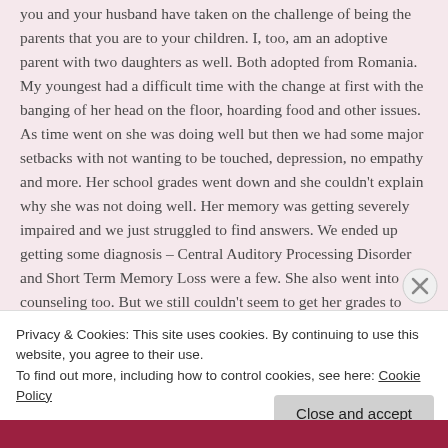you and your husband have taken on the challenge of being the parents that you are to your children. I, too, am an adoptive parent with two daughters as well. Both adopted from Romania. My youngest had a difficult time with the change at first with the banging of her head on the floor, hoarding food and other issues. As time went on she was doing well but then we had some major setbacks with not wanting to be touched, depression, no empathy and more. Her school grades went down and she couldn't explain why she was not doing well. Her memory was getting severely impaired and we just struggled to find answers. We ended up getting some diagnosis – Central Auditory Processing Disorder and Short Term Memory Loss were a few. She also went into counseling too. But we still couldn't seem to get her grades to improve and I was very concerned that her memory was impairing her thought processes and not being able to comprehend really important things. Even
Privacy & Cookies: This site uses cookies. By continuing to use this website, you agree to their use.
To find out more, including how to control cookies, see here: Cookie Policy